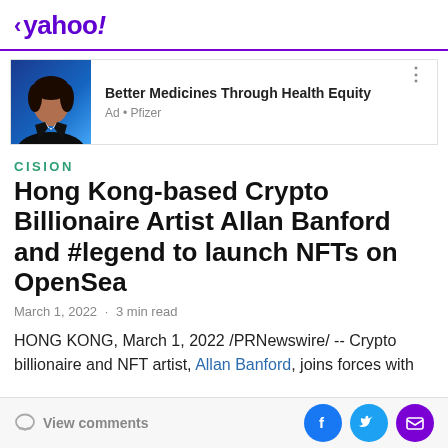< yahoo!
[Figure (advertisement): Ad banner with a woman in professional attire against blue background, text: Better Medicines Through Health Equity, Ad • Pfizer]
CISION
Hong Kong-based Crypto Billionaire Artist Allan Banford and #legend to launch NFTs on OpenSea
March 1, 2022 · 3 min read
HONG KONG, March 1, 2022 /PRNewswire/ -- Crypto billionaire and NFT artist, Allan Banford, joins forces with
View comments